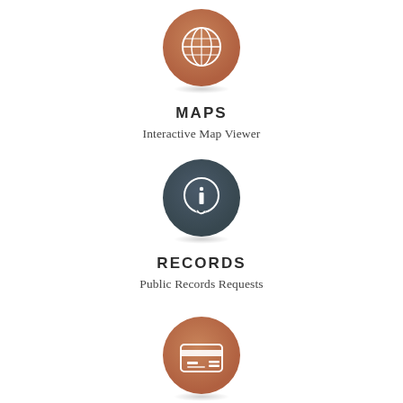[Figure (infographic): Circular bronze/copper colored icon with white globe/map grid symbol, with drop shadow below]
MAPS
Interactive Map Viewer
[Figure (infographic): Circular dark slate/navy colored icon with white chat bubble containing letter i (information symbol), with drop shadow below]
RECORDS
Public Records Requests
[Figure (infographic): Circular bronze/copper colored icon with white credit card / ID card symbol, with drop shadow below]